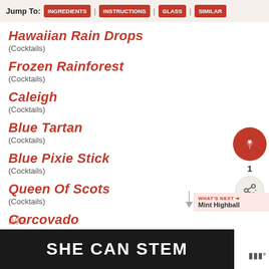Jump To: INGREDIENTS | INSTRUCTIONS | GLASS | SIMILAR
Hawaiian Rain Drops
(Cocktails)
Frozen Rainforest
(Cocktails)
Caleigh
(Cocktails)
Blue Tartan
(Cocktails)
Blue Pixie Stick
(Cocktails)
Queen Of Scots
(Cocktails)
Corcovado
(Cocktails)
[Figure (other): Orange circular button with cocktail/bar icon and heart, with number 1 below and share icon button]
[Figure (other): What's Next arrow banner showing Mint Highball]
[Figure (other): SHE CAN STEM advertisement banner in dark background with white bold text]